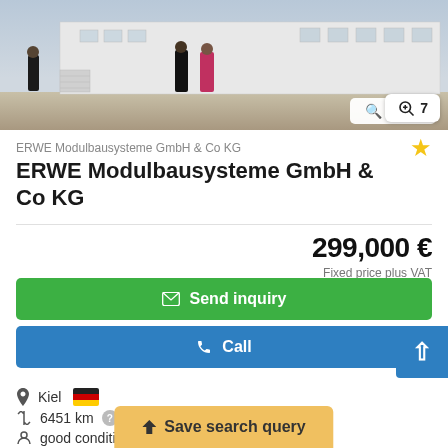[Figure (photo): Outdoor photo showing people near modular building structures, white container-style units in background]
ERWE Modulbausysteme GmbH & Co KG
ERWE Modulbausysteme GmbH & Co KG
299,000 €
Fixed price plus VAT
Send inquiry
Call
Kiel
6451 km
good conditio…
Save search query